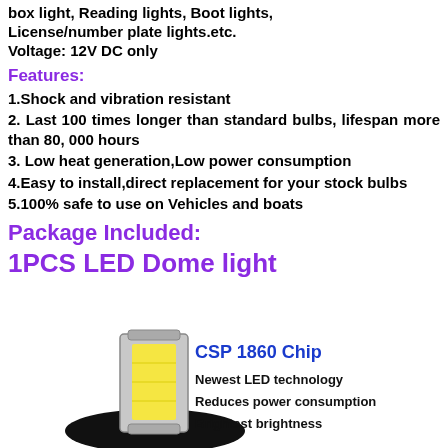box light, Reading lights, Boot lights, License/number plate lights.etc. Voltage: 12V DC only
Features:
1.Shock and vibration resistant
2. Last 100 times longer than standard bulbs, lifespan more than 80, 000 hours
3. Low heat generation,Low power consumption
4.Easy to install,direct replacement for your stock bulbs
5.100% safe to use on Vehicles and boats
Package Included:
1PCS LED Dome light
[Figure (illustration): CSP 1860 Chip product illustration showing an LED chip component with yellow LED strip, black base circle, and text: CSP 1860 Chip, Newest LED technology, Reduces power consumption, Brightest brightness]